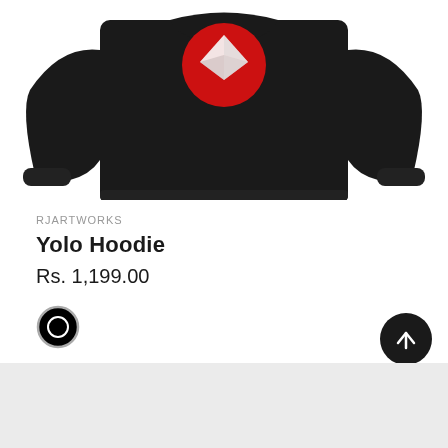[Figure (photo): Black hoodie with a red circular graphic on the chest featuring a geometric diamond/crystal design. The hoodie is displayed flat on a white background.]
RJARTWORKS
Yolo Hoodie
Rs. 1,199.00
[Figure (other): Black color swatch circle with grey border indicating selected color option]
[Figure (other): Dark circular scroll-to-top button with upward arrow icon]
[Figure (other): Light grey bottom section/panel]